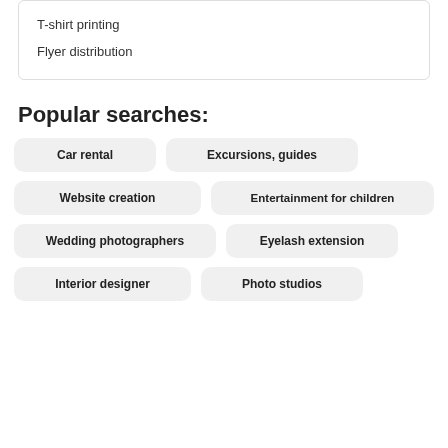T-shirt printing
Flyer distribution
Popular searches:
Car rental
Excursions, guides
Website creation
Entertainment for children
Wedding photographers
Eyelash extension
Interior designer
Photo studios